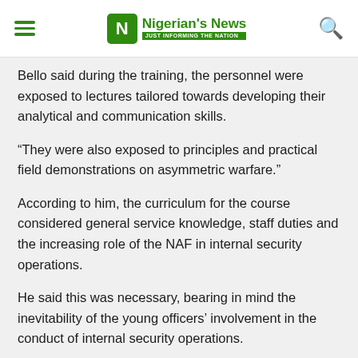Nigerian's News — JUST INFORMING THE NATION
Bello said during the training, the personnel were exposed to lectures tailored towards developing their analytical and communication skills.
“They were also exposed to principles and practical field demonstrations on asymmetric warfare.”
According to him, the curriculum for the course considered general service knowledge, staff duties and the increasing role of the NAF in internal security operations.
He said this was necessary, bearing in mind the inevitability of the young officers’ involvement in the conduct of internal security operations.
The course participants went through eight weeks